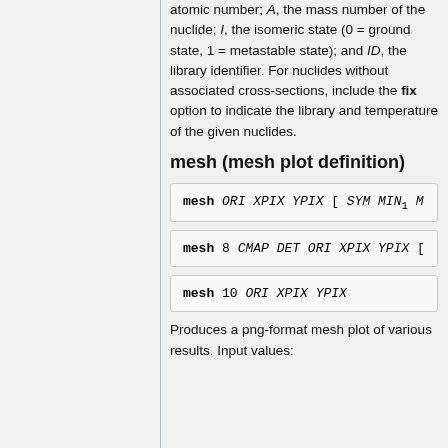atomic number; A, the mass number of the nuclide; I, the isomeric state (0 = ground state, 1 = metastable state); and ID, the library identifier. For nuclides without associated cross-sections, include the fix option to indicate the library and temperature of the given nuclides.
mesh (mesh plot definition)
mesh ORI XPIX YPIX [ SYM MIN1 M
mesh 8 CMAP DET ORI XPIX YPIX [
mesh 10 ORI XPIX YPIX
Produces a png-format mesh plot of various results. Input values: